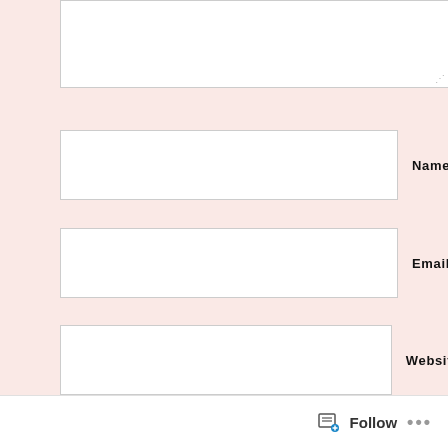[Figure (screenshot): Partially visible comment textarea box at top of page]
Name *
Email *
Website
Post Comment
Notify me of new comments via email.
Notify me of new posts via email.
[Figure (screenshot): Partially visible blue follow widget bar at bottom of page]
Follow ...